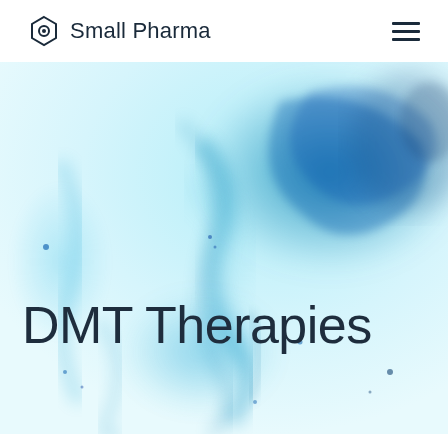Small Pharma
[Figure (photo): Abstract blue ink dispersing in water, light cyan and dark blue swirling patterns on white background, used as hero banner image for DMT Therapies page]
DMT Therapies